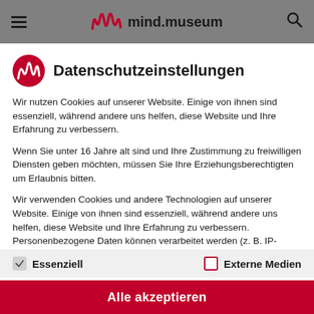≡ mind.museum 🔍
Datenschutzeinstellungen
Wir nutzen Cookies auf unserer Website. Einige von ihnen sind essenziell, während andere uns helfen, diese Website und Ihre Erfahrung zu verbessern.
Wenn Sie unter 16 Jahre alt sind und Ihre Zustimmung zu freiwilligen Diensten geben möchten, müssen Sie Ihre Erziehungsberechtigten um Erlaubnis bitten.
Wir verwenden Cookies und andere Technologien auf unserer Website. Einige von ihnen sind essenziell, während andere uns helfen, diese Website und Ihre Erfahrung zu verbessern. Personenbezogene Daten können verarbeitet werden (z. B. IP-Adressen), z. B. für personalisierte Anzeigen
✓ Essenziell    ☐ Externe Medien
Alle akzeptieren